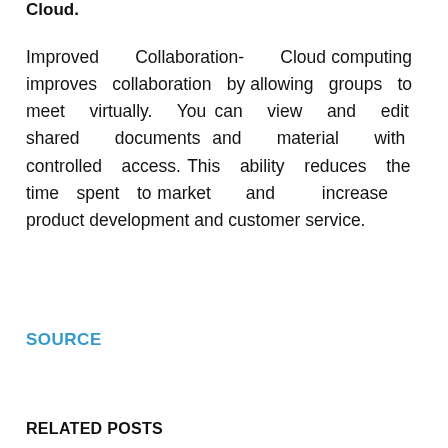Cloud.
Improved Collaboration- Cloud computing improves collaboration by allowing groups to meet virtually. You can view and edit shared documents and material with controlled access. This ability reduces the time spent to market and increase product development and customer service.
SOURCE
RELATED POSTS